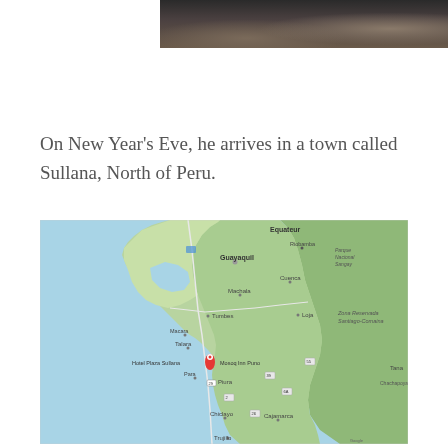[Figure (photo): Partial photo at top of page showing dark ground/rubble scene, cropped]
On New Year's Eve, he arrives in a town called Sullana, North of Peru.
[Figure (map): Google Maps screenshot showing northwestern Peru and southern Ecuador, with a red location pin marking Sullana near Hotel Plaza Sullana and Mosoq Inn Puno labels. Cities visible: Guayaquil, Equateur, Riobamba, Parque Nacional Sangay, Cuenca, Machala, Tumbes, Loja, Zona Reservada Santiago-Comaina, Macara, Talara, Piura, Para, Chiclayo, Cajamarca, Trujillo, Tana.]